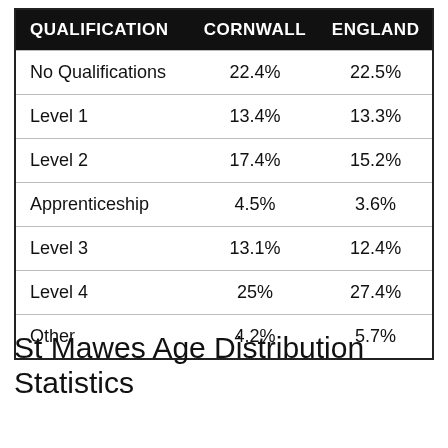| QUALIFICATION | CORNWALL | ENGLAND |
| --- | --- | --- |
| No Qualifications | 22.4% | 22.5% |
| Level 1 | 13.4% | 13.3% |
| Level 2 | 17.4% | 15.2% |
| Apprenticeship | 4.5% | 3.6% |
| Level 3 | 13.1% | 12.4% |
| Level 4 | 25% | 27.4% |
| Other | 4.2% | 5.7% |
St Mawes Age Distribution Statistics